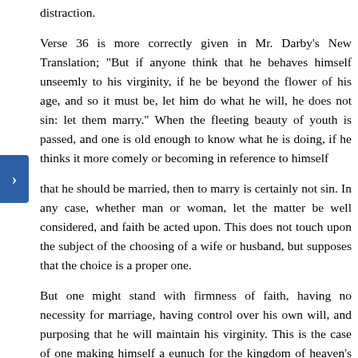distraction.
Verse 36 is more correctly given in Mr. Darby's New Translation; "But if anyone think that he behaves himself unseemly to his virginity, if he be beyond the flower of his age, and so it must be, let him do what he will, he does not sin: let them marry." When the fleeting beauty of youth is passed, and one is old enough to know what he is doing, if he thinks it more comely or becoming in reference to himself
that he should be married, then to marry is certainly not sin. In any case, whether man or woman, let the matter be well considered, and faith be acted upon. This does not touch upon the subject of the choosing of a wife or husband, but supposes that the choice is a proper one.
But one might stand with firmness of faith, having no necessity for marriage, having control over his own will, and purposing that he will maintain his virginity. This is the case of one making himself a eunuch for the kingdom of heaven's sake (Mt. 19:12). If it is not too common, yet it is blessedly commendable.